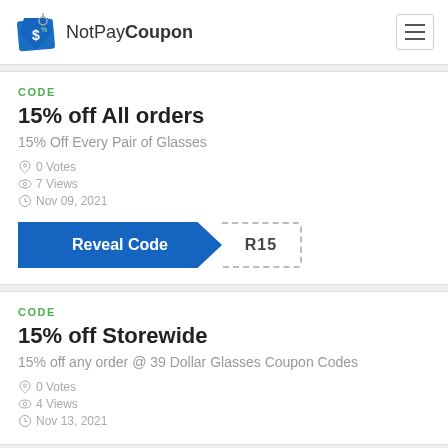NotPayCoupon
CODE
15% off All orders
15% Off Every Pair of Glasses
0 Votes
7 Views
Nov 09, 2021
Reveal Code R15
CODE
15% off Storewide
15% off any order @ 39 Dollar Glasses Coupon Codes
0 Votes
4 Views
Nov 13, 2021